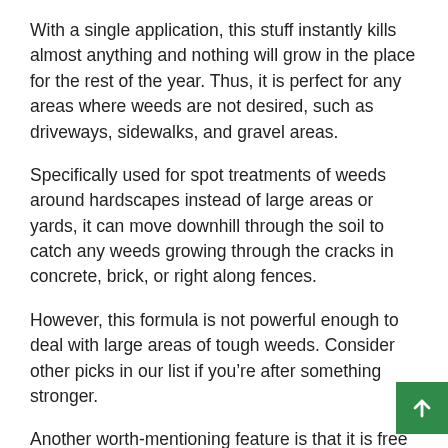With a single application, this stuff instantly kills almost anything and nothing will grow in the place for the rest of the year. Thus, it is perfect for any areas where weeds are not desired, such as driveways, sidewalks, and gravel areas.
Specifically used for spot treatments of weeds around hardscapes instead of large areas or yards, it can move downhill through the soil to catch any weeds growing through the cracks in concrete, brick, or right along fences.
However, this formula is not powerful enough to deal with large areas of tough weeds. Consider other picks in our list if you’re after something stronger.
Another worth-mentioning feature is that it is free of Glyphosate, a super hazardous ingredient that causes many health problems. And of course, this product will cost more compared with other products that do not use a battery operated wand.